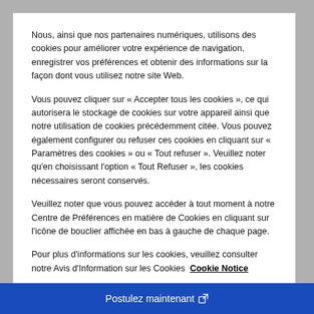Nous, ainsi que nos partenaires numériques, utilisons des cookies pour améliorer votre expérience de navigation, enregistrer vos préférences et obtenir des informations sur la façon dont vous utilisez notre site Web.
Vous pouvez cliquer sur « Accepter tous les cookies », ce qui autorisera le stockage de cookies sur votre appareil ainsi que notre utilisation de cookies précédemment citée. Vous pouvez également configurer ou refuser ces cookies en cliquant sur « Paramètres des cookies » ou « Tout refuser ». Veuillez noter qu'en choisissant l'option « Tout Refuser », les cookies nécessaires seront conservés.
Veuillez noter que vous pouvez accéder à tout moment à notre Centre de Préférences en matière de Cookies en cliquant sur l'icône de bouclier affichée en bas à gauche de chaque page.
Pour plus d'informations sur les cookies, veuillez consulter notre Avis d'Information sur les Cookies  Cookie Notice
Tout refuser
Autoriser tous les cookies
Postulez maintenant